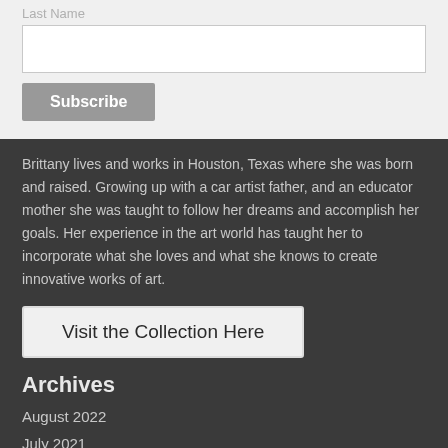Last Name
[Figure (other): Text input box for Last Name and Subscribe button]
Brittany lives and works in Houston, Texas where she was born and raised. Growing up with a car artist father, and an educator mother she was taught to follow her dreams and accomplish her goals. Her experience in the art world has taught her to incorporate what she loves and what she knows to create innovative works of art.
Visit the Collection Here
Archives
August 2022
July 2021
June 2021
May 2021
April 2021